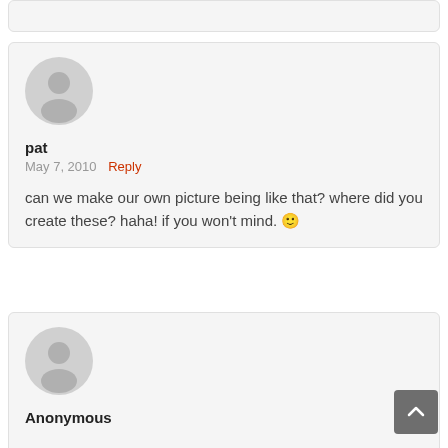[Figure (other): Partial comment card at the top of the page (cropped)]
pat
May 7, 2010   Reply
can we make our own picture being like that? where did you create these? haha! if you won't mind. 🙂
Anonymous
[Figure (other): Back to top arrow button in gray]